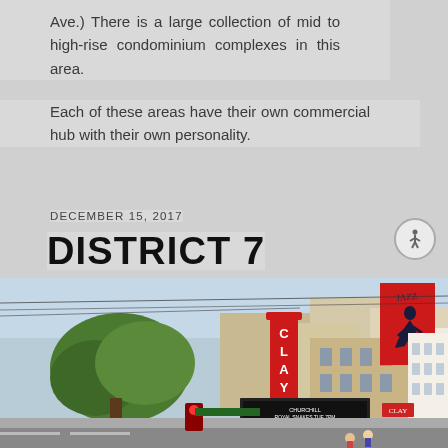Ave.) There is a large collection of mid to high-rise condominium complexes in this area.
Each of these areas have their own commercial hub with their own personality.
DECEMBER 15, 2017
DISTRICT 7
[Figure (photo): Street view photo of the Clay Theatre on Fillmore Street in San Francisco, with red vertical marquee sign reading CLAY, a movie marquee below listing shows including Churchill, Royal Snakes, Kiki's Delivery, The Room, with trees and buildings visible, and a jazz poster on a red billboard in the background.]